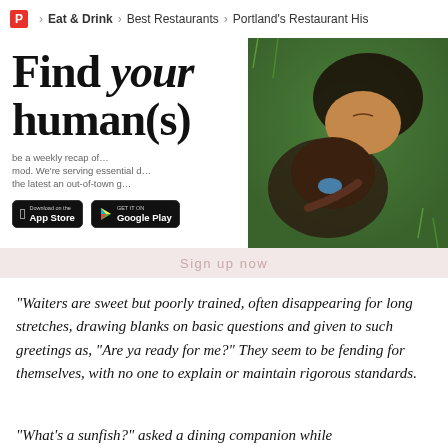P > Eat & Drink > Best Restaurants > Portland's Restaurant His
Find your human(s)
[Figure (photo): Two people lying in grass, faces close together, one person has blue face paint]
Download on the App Store | GET IT ON Google Play
Sign up now
“Waiters are sweet but poorly trained, often disappearing for long stretches, drawing blanks on basic questions and given to such greetings as, “Are ya ready for me?” They seem to be fending for themselves, with no one to explain or maintain rigorous standards.
“What’s a sunfish?” asked a dining companion while